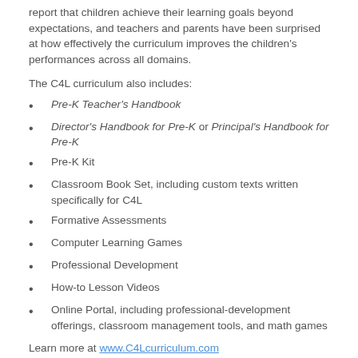report that children achieve their learning goals beyond expectations, and teachers and parents have been surprised at how effectively the curriculum improves the children's performances across all domains.
The C4L curriculum also includes:
Pre-K Teacher's Handbook
Director's Handbook for Pre-K or Principal's Handbook for Pre-K
Pre-K Kit
Classroom Book Set, including custom texts written specifically for C4L
Formative Assessments
Computer Learning Games
Professional Development
How-to Lesson Videos
Online Portal, including professional-development offerings, classroom management tools, and math games
Learn more at www.C4Lcurriculum.com